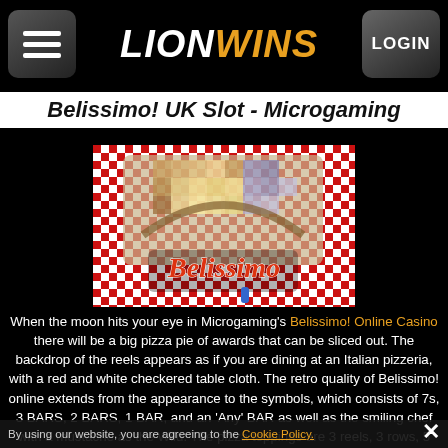LionWins - Menu | LOGIN
Belissimo! UK Slot - Microgaming
[Figure (illustration): Belissimo slot game logo with red and white checkered background and stylized cursive Belissimo text]
When the moon hits your eye in Microgaming's Belissimo! Online Casino there will be a big pizza pie of awards that can be sliced out. The backdrop of the reels appears as if you are dining at an Italian pizzeria, with a red and white checkered table cloth. The retro quality of Belissimo! online extends from the appearance to the symbols, which consists of 7s, 3 BARS, 2 BARS, 1 BAR, and an 'Any' BAR as well as the smiling chef with a mustache as the Wild. The pizza toppings are 3 reels, 3 rows, 5 payways, a 93.23% RTP and a wager span from
By using our website, you are agreeing to the Cookie Policy.